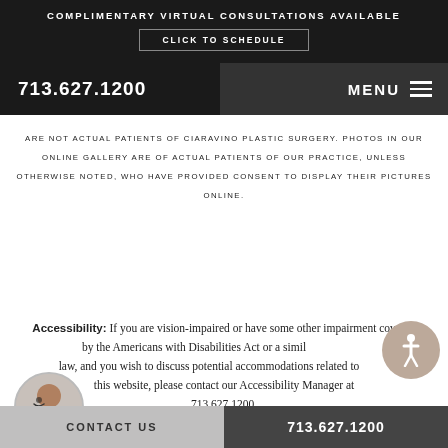COMPLIMENTARY VIRTUAL CONSULTATIONS AVAILABLE
CLICK TO SCHEDULE
713.627.1200
MENU
ARE NOT ACTUAL PATIENTS OF CIARAVINO PLASTIC SURGERY. PHOTOS IN OUR ONLINE GALLERY ARE OF ACTUAL PATIENTS OF OUR PRACTICE, UNLESS OTHERWISE NOTED, WHO HAVE PROVIDED CONSENT TO DISPLAY THEIR PICTURES ONLINE.
Accessibility: If you are vision-impaired or have some other impairment covered by the Americans with Disabilities Act or a similar law, and you wish to discuss potential accommodations related to this website, please contact our Accessibility Manager at 713.627.1200.
[Figure (photo): Customer service representative with headset]
[Figure (illustration): Accessibility icon - wheelchair symbol in circle]
CONTACT US   713.627.1200